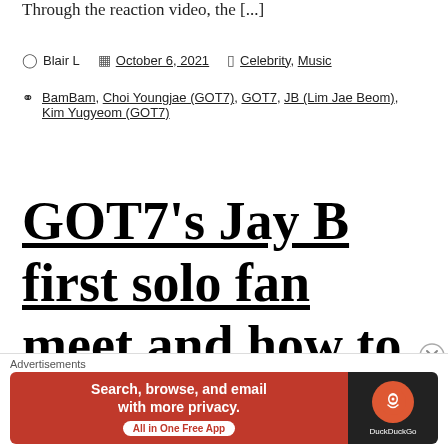Through the reaction video, the [...]
Blair L  |  October 6, 2021  |  Celebrity, Music
BamBam, Choi Youngjae (GOT7), GOT7, JB (Lim Jae Beom), Kim Yugyeom (GOT7)
GOT7's Jay B first solo fan meet and how to get in
Advertisements
Search, browse, and email with more privacy. All in One Free App | DuckDuckGo